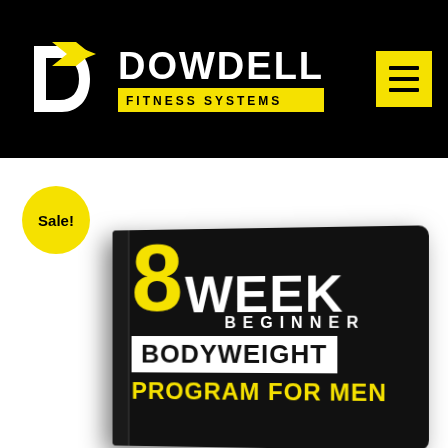[Figure (logo): Dowdell Fitness Systems logo: stylized white D with yellow arrow on black background, with brand name DOWDELL in white bold text and FITNESS SYSTEMS in black text on yellow background bar]
[Figure (other): Yellow hamburger menu button (three horizontal bars) on black header]
Sale!
[Figure (photo): 8 WEEK BEGINNER BODYWEIGHT PROGRAM FOR MEN fitness book cover. Black cover with large yellow 8, white WEEK text, white BEGINNER text, white BODYWEIGHT on white bar, yellow PROGRAM FOR MEN text. Book is angled showing spine.]